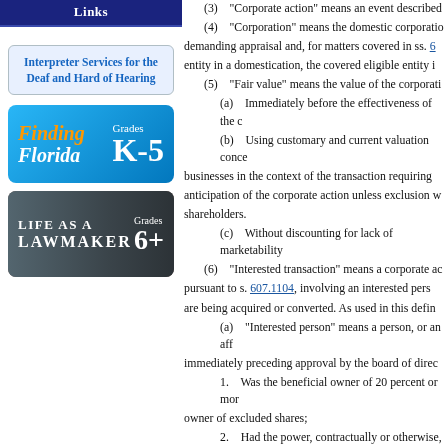Links
Interpreter Services for the Deaf and Hard of Hearing
[Figure (illustration): Finding Florida Grades K-5 educational banner with blue gradient background and orange/white text]
[Figure (illustration): Life as a Lawmaker Grades 6+ educational banner with dark background]
(3) "Corporate action" means an event described...
(4) "Corporation" means the domestic corporation demanding appraisal and, for matters covered in ss. 6... entity in a domestication, the covered eligible entity i...
(5) "Fair value" means the value of the corporati...
(a) Immediately before the effectiveness of the c...
(b) Using customary and current valuation conce... businesses in the context of the transaction requiring ... anticipation of the corporate action unless exclusion w... shareholders.
(c) Without discounting for lack of marketability...
(6) "Interested transaction" means a corporate ac... pursuant to s. 607.1104, involving an interested pers... are being acquired or converted. As used in this defin...
(a) "Interested person" means a person, or an aff... immediately preceding approval by the board of direc...
1. Was the beneficial owner of 20 percent or mor... owner of excluded shares;
2. Had the power, contractually or otherwise, oth... appointment or election of 25 percent or more of the ...
3. Was a senior executive or director of the corpo... corporation, and will receive, as a result of the corpor... other shareholders as such, other than: